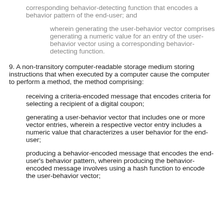corresponding behavior-detecting function that encodes a behavior pattern of the end-user; and
wherein generating the user-behavior vector comprises generating a numeric value for an entry of the user-behavior vector using a corresponding behavior-detecting function.
9. A non-transitory computer-readable storage medium storing instructions that when executed by a computer cause the computer to perform a method, the method comprising:
receiving a criteria-encoded message that encodes criteria for selecting a recipient of a digital coupon;
generating a user-behavior vector that includes one or more vector entries, wherein a respective vector entry includes a numeric value that characterizes a user behavior for the end-user;
producing a behavior-encoded message that encodes the end-user's behavior pattern, wherein producing the behavior-encoded message involves using a hash function to encode the user-behavior vector;